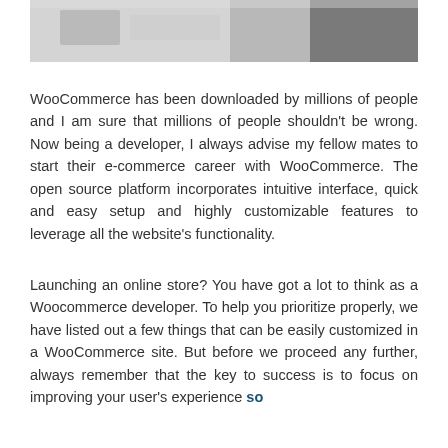[Figure (photo): Photo of a person working at a desk with a computer monitor and other office items, partially visible at the top of the page.]
WooCommerce has been downloaded by millions of people and I am sure that millions of people shouldn't be wrong. Now being a developer, I always advise my fellow mates to start their e-commerce career with WooCommerce. The open source platform incorporates intuitive interface, quick and easy setup and highly customizable features to leverage all the website's functionality.
Launching an online store? You have got a lot to think as a Woocommerce developer. To help you prioritize properly, we have listed out a few things that can be easily customized in a WooCommerce site. But before we proceed any further, always remember that the key to success is to focus on improving your user's experience so